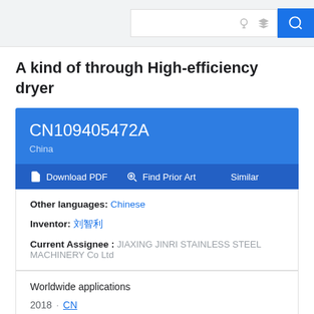Search bar with lightbulb, graduation cap icons and search button
A kind of through High-efficiency dryer
CN109405472A
China
Download PDF  Find Prior Art  Similar
Other languages: Chinese
Inventor: 刘胜利
Current Assignee : JIAXING JINRI STAINLESS STEEL MACHINERY Co Ltd
Worldwide applications
2018 · CN